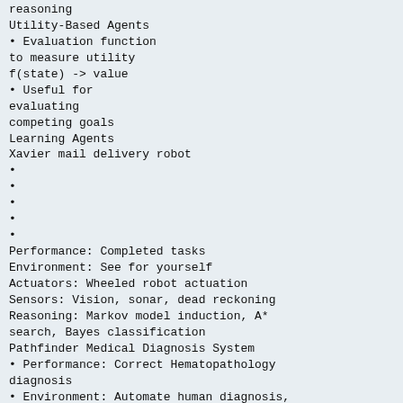reasoning
Utility-Based Agents
• Evaluation function to measure utility f(state) -> value
• Useful for evaluating competing goals
Learning Agents
Xavier mail delivery robot
•
•
•
•
•
Performance: Completed tasks
Environment: See for yourself
Actuators: Wheeled robot actuation
Sensors: Vision, sonar, dead reckoning
Reasoning: Markov model induction, A* search, Bayes classification
Pathfinder Medical Diagnosis System
• Performance: Correct Hematopathology diagnosis
• Environment: Automate human diagnosis, partially observable, deterministic, episodic, static, continuous, single agent
• Actuators: Output diagnoses and further test suggestions
• Sensors: Input symptoms and test results
• Reasoning: Bayesian networks, Monte-Carlo simulations
TDGammon